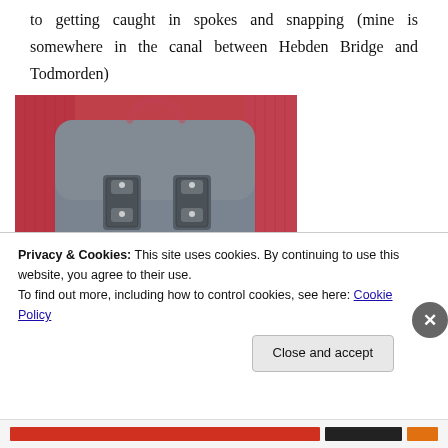to getting caught in spokes and snapping (mine is somewhere in the canal between Hebden Bridge and Todmorden)
[Figure (photo): A grey backpack with metal buckles and clasps photographed against a pink/red fabric background. The front of the bag shows two metal toggle fasteners and a buckle at the bottom center.]
Privacy & Cookies: This site uses cookies. By continuing to use this website, you agree to their use.
To find out more, including how to control cookies, see here: Cookie Policy
Close and accept